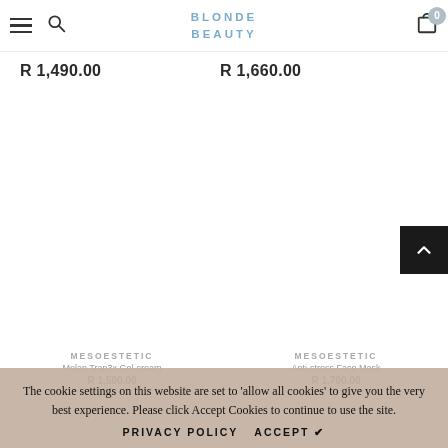BLONDE BEAUTY
R 1,490.00
R 1,660.00
The cookie settings on this website are set to 'allow all cookies' to give you the very best experience. Please click Accept Cookies to continue to use the site.
MESOESTETIC
Melan Tran3x Gel-cream
R 1,500.00
MESOESTETIC
Anti-stress Face Mask
R 1,700.00